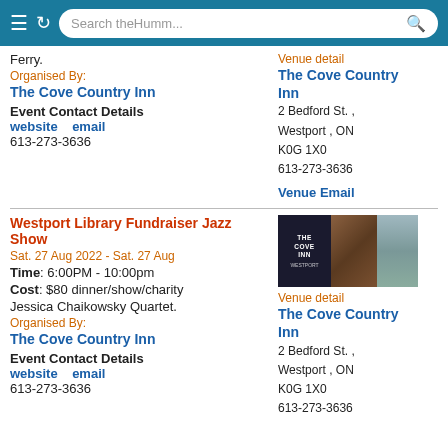Search theHumm...
Ferry.
Organised By:
The Cove Country Inn
Event Contact Details
website   email
613-273-3636
Venue detail
The Cove Country Inn
2 Bedford St. , Westport , ON
K0G 1X0
613-273-3636
Venue Email
Westport Library Fundraiser Jazz Show
Sat. 27 Aug 2022 - Sat. 27 Aug
Time: 6:00PM - 10:00pm
Cost: $80 dinner/show/charity
Jessica Chaikowsky Quartet.
Organised By:
The Cove Country Inn
Event Contact Details
website   email
613-273-3636
[Figure (photo): The Cove Inn venue photo collage: logo on dark background, food photo, and room interior]
Venue detail
The Cove Country Inn
2 Bedford St. , Westport , ON
K0G 1X0
613-273-3636